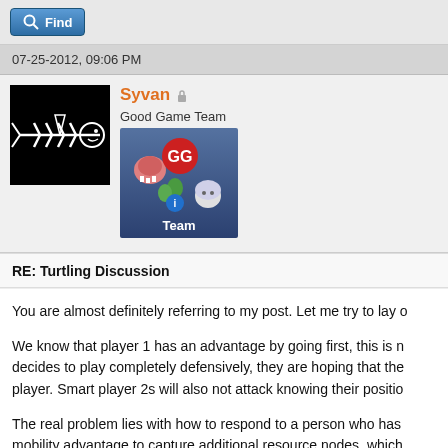Find
07-25-2012, 09:06 PM
Syvan
Good Game Team
[Figure (illustration): User avatar showing a white fish skeleton on black background, and a team badge image with cartoon game characters and 'Team' text]
RE: Turtling Discussion
You are almost definitely referring to my post. Let me try to lay o
We know that player 1 has an advantage by going first, this is n decides to play completely defensively, they are hoping that the player. Smart player 2s will also not attack knowing their positio
The real problem lies with how to respond to a person who has mobility advantage to capture additional resource nodes, which discourages turtles. In this game, there are very few resource s there is no cost effective way to respond to a player 1 turtle exc